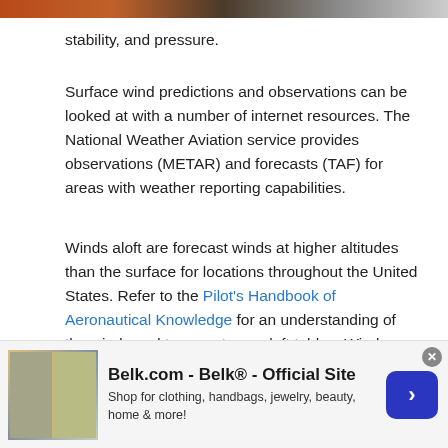[decorative header image]
stability, and pressure.
Surface wind predictions and observations can be looked at with a number of internet resources. The National Weather Aviation service provides observations (METAR) and forecasts (TAF) for areas with weather reporting capabilities.
Winds aloft are forecast winds at higher altitudes than the surface for locations throughout the United States. Refer to the Pilot's Handbook of Aeronautical Knowledge for an understanding of the winds and temperatures aloft tables. Winds aloft, too, are important for flight planning and safety.
[Figure (other): Advertisement banner for Belk.com - Belk® - Official Site with text 'Shop for clothing, handbags, jewelry, beauty, home & more!' and a blue arrow button]